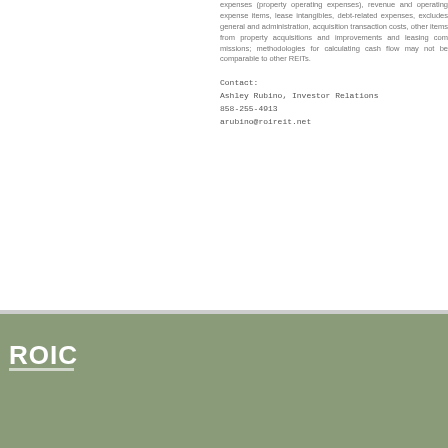expenses (property operating expenses), revenue and operating expense items, lease intangibles, debt-related expenses, excludes general and administrative, acquisition transaction costs, other items from property acquisitions and improvements and leasing commissions; methodologies for calculating cash flow may not be comparable to other REITs.
Contact:
Ashley Rubino, Investor Relations
858-255-4913
arubino@roireit.net
Copyright © 2022 ROIC. All rights reserved. Site Map  Privacy Policy  Company Information  Shopping Centers  P